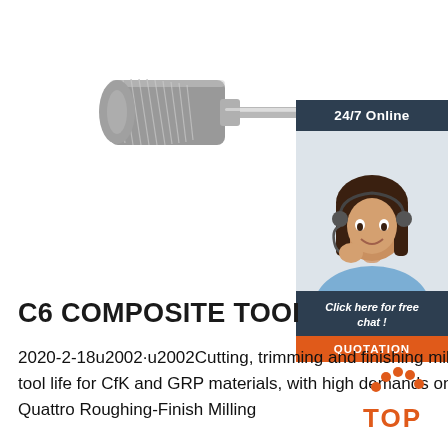[Figure (photo): Carbide burr / composite cutting tool – cylindrical shaped rotary file with long shank, silver/grey metallic finish]
[Figure (photo): 24/7 Online customer service panel with smiling woman wearing headset, dark blue banners, orange QUOTATION button]
C6 COMPOSITE TOOLI
2020-2-18u2002·u2002Cutting, trimming and finishing milling of CfK and GfK fibre composite materials Long tool life for CfK and GRP materials, with high demands on cutting quality •••••• C6 DP-TriTEC and DiaTEC 4 Quattro Roughing-Finish Milling
[Figure (logo): TOP badge – orange arc with dots forming an arc above the word TOP in orange text]